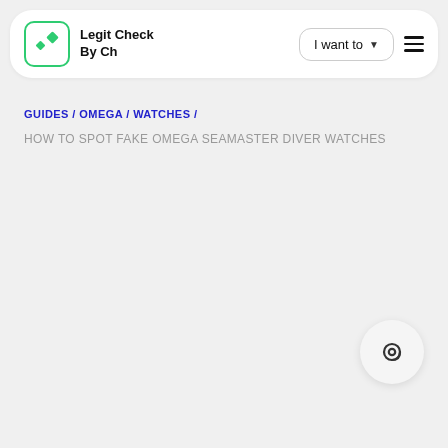Legit Check By Ch | I want to ☰
GUIDES / OMEGA / WATCHES /
HOW TO SPOT FAKE OMEGA SEAMASTER DIVER WATCHES
[Figure (other): Contact/at-sign floating action button in bottom right]